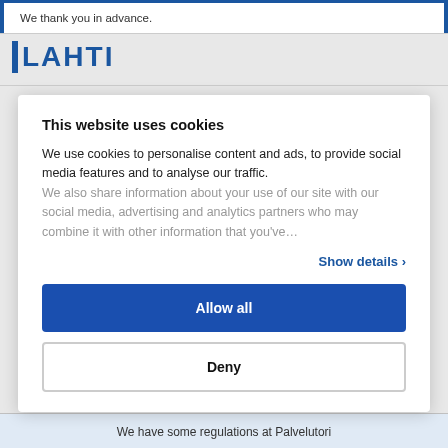We thank you in advance.
[Figure (logo): LAHTI city logo in blue]
This website uses cookies
We use cookies to personalise content and ads, to provide social media features and to analyse our traffic. We also share information about your use of our site with our social media, advertising and analytics partners who may combine it with other information that you've...
Show details ›
Allow all
Deny
We have some regulations at Palvelutori